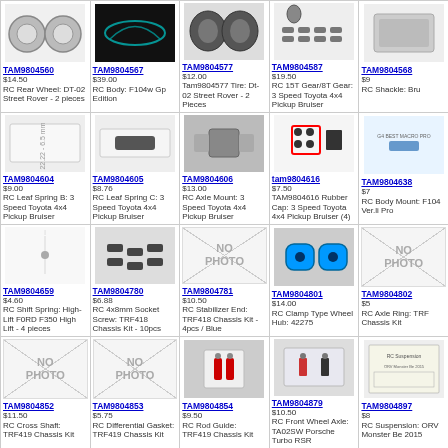TAM9804560 $14.50 RC Rear Wheel: DT-02 Street Rover - 2 pieces
TAM9804567 $39.00 RC Body: F104w Gp Edition
TAM9804577 $12.00 Tam9804577 Tire: Dt-02 Street Rover - 2 Pieces
TAM9804587 $19.50 RC 15T Gear/8T Gear: 3 Speed Toyota 4x4 Pickup Bruiser
TAM9804568 $9 RC Shackle: Bru
TAM9804604 $9.00 RC Leaf Spring B: 3 Speed Toyota 4x4 Pickup Bruiser
TAM9804605 $8.76 RC Leaf Spring C: 3 Speed Toyota 4x4 Pickup Bruiser
TAM9804606 $13.00 RC Axle Mount: 3 Speed Toyota 4x4 Pickup Bruiser
tam9804616 $7.50 TAM9804616 Rubber Cap: 3 Speed Toyota 4x4 Pickup Bruiser (4)
TAM9804638 $7 RC Body Mount: F104 Ver.li Pro
TAM9804659 $4.60 RC Shift Spring: High-Lift F0RD F350 High Lift - 4 pieces
TAM9804780 $6.88 RC 4x8mm Socket Screw: TRF418 Chassis Kit - 10pcs
TAM9804781 $10.50 RC Stabilizer End: TRF418 Chassis Kit - 4pcs / Blue
TAM9804801 $14.00 RC Clamp Type Wheel Hub: 42275
TAM9804802 $5 RC Axle Ring: TRF Chassis Kit
TAM9804852 $11.50 RC Cross Shaft: TRF419 Chassis Kit
TAM9804853 $5.75 RC Differential Gasket: TRF419 Chassis Kit
TAM9804854 $9.50 RC Rod Guide: TRF419 Chassis Kit
TAM9804879 $10.50 RC Front Wheel Axle: TA02SW Porsche Turbo RSR
TAM9804897 $8 RC Suspension: ORV Monster Be 2015